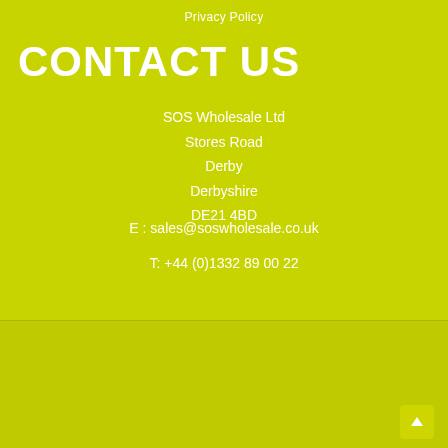Privacy Policy
CONTACT US
SOS Wholesale Ltd
Stores Road
Derby
Derbyshire
DE21 4BD
E : sales@soswholesale.co.uk
T: +44 (0)1332 89 00 22
Proud To Be A Member Of The UK's Largest Independent Wholesale Buying Group
[Figure (logo): Unitas Wholesale logo with heart/infinity symbol in red, blue and purple, and 'Unitas WHOLESALE' text in dark blue]